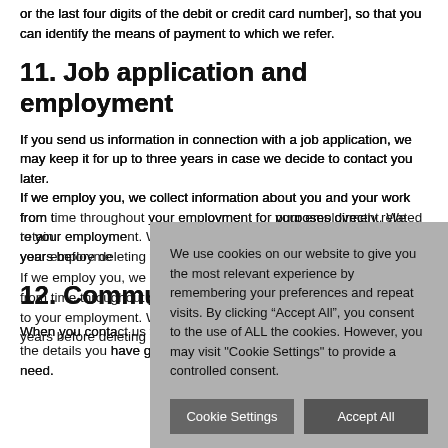or the last four digits of the debit or credit card number], so that you can identify the means of payment to which we refer.
11. Job application and employment
If you send us information in connection with a job application, we may keep it for up to three years in case we decide to contact you later.
If we employ you, we collect information about you and your work from time to time throughout your employment for purposes directly related to your employment. We retain your employment records for seven years before deleting them.
12. Commu
When you contact us whether on our website or by e-mail, we use the details you have given to us to reply with the information you need.
We use cookies on our website to give you the most relevant experience by remembering your preferences and repeat visits. By clicking “Accept All”, you consent to the use of ALL the cookies. However, you may visit "Cookie Settings" to provide a controlled consent.